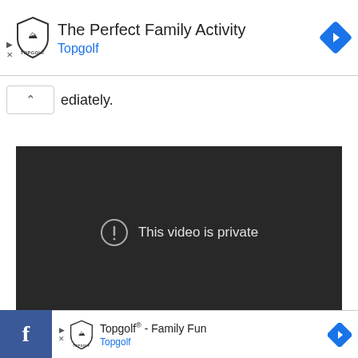[Figure (screenshot): Topgolf advertisement banner at the top. Shows Topgolf shield logo, title 'The Perfect Family Activity', brand name 'Topgolf' in blue, and a blue diamond navigation icon on the right. Small play and close controls on the left.]
ediately.
[Figure (screenshot): Dark video player showing 'This video is private' message with a circle exclamation icon.]
[Figure (screenshot): Bottom Facebook bar on the left (blue with 'f'), and a second Topgolf ad banner reading 'Topgolf® - Family Fun' with Topgolf in blue, Topgolf shield logo, and a blue diamond navigation icon.]